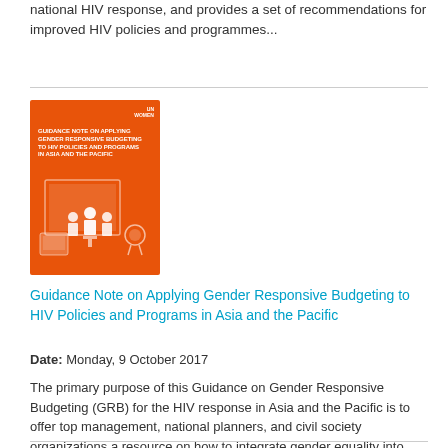national HIV response, and provides a set of recommendations for improved HIV policies and programmes...
[Figure (illustration): Orange book cover for 'Guidance Note on Applying Gender Responsive Budgeting to HIV Policies and Programs in Asia and the Pacific' published by UN Women, featuring silhouettes of people in a training/presentation setting]
Guidance Note on Applying Gender Responsive Budgeting to HIV Policies and Programs in Asia and the Pacific
Date: Monday, 9 October 2017
The primary purpose of this Guidance on Gender Responsive Budgeting (GRB) for the HIV response in Asia and the Pacific is to offer top management, national planners, and civil society organizations a resource on how to integrate gender equality into HIV policy and planning. The note is based on a paper prepared for UN Women on Applying GRB to the HIV Responses: A Case Study of Cambodia, Indonesia, and Thailand , and serves as a stand-alone framework for applying gender responsive budgeting to...